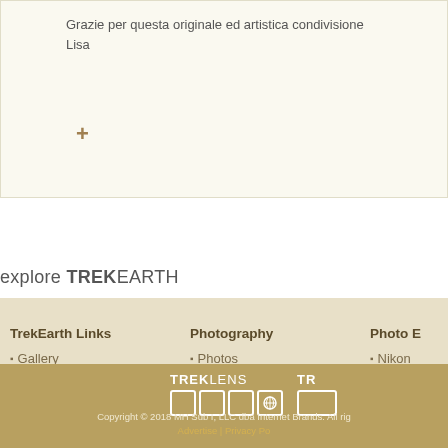Grazie per questa originale ed artistica condivisione
Lisa
+
explore TREKEARTH
TrekEarth Links: Gallery, Forums, Members, About, RSS Feeds
Photography: Photos, Critiques, Themes, Categories, Workshops
Photo E: Nikon, Canon, Canon, Nikon, Panase
[Figure (logo): TREKLENS logo with icon boxes and a partial second TREK logo]
Copyright © 2018 MH Sub I, LLC dba Internet Brands. All rig | Advertise | Privacy Po